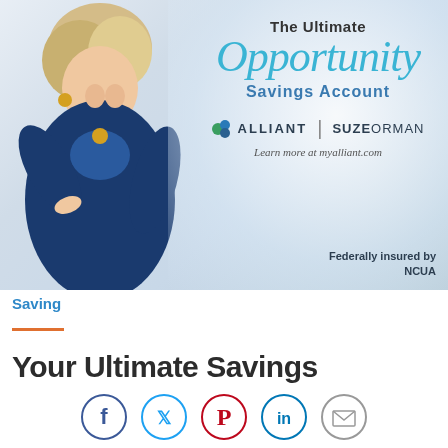[Figure (illustration): Advertisement banner for Alliant Credit Union and Suze Orman's 'The Ultimate Opportunity Savings Account'. Features a woman in a blue blazer on the left side, with text on the right: 'The Ultimate Opportunity Savings Account', Alliant and Suze Orman logos, 'Learn more at myalliant.com', and 'Federally insured by NCUA'.]
Saving
Your Ultimate Savings
[Figure (infographic): Social sharing icons row: Facebook (blue circle), Twitter (light blue circle), Pinterest (red circle), LinkedIn (blue circle), Email/envelope (gray circle)]